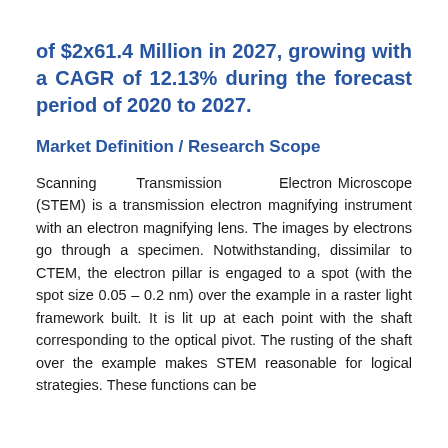of $2x61.4 Million in 2027, growing with a CAGR of 12.13% during the forecast period of 2020 to 2027.
Market Definition / Research Scope
Scanning Transmission Electron Microscope (STEM) is a transmission electron magnifying instrument with an electron magnifying lens. The images by electrons go through a specimen. Notwithstanding, dissimilar to CTEM, the electron pillar is engaged to a spot (with the spot size 0.05 – 0.2 nm) over the example in a raster light framework built. It is lit up at each point with the shaft corresponding to the optical pivot. The rusting of the shaft over the example makes STEM reasonable for logical strategies. These functions can be